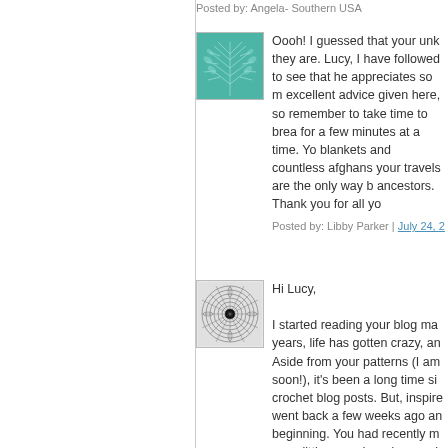Posted by: Angela- Southern USA
[Figure (illustration): Teal avatar with white leaf/tree branch pattern]
Oooh! I guessed that your unk they are. Lucy, I have follow to see that he appreciates so excellent advice given here, s remember to take time to brea for a few minutes at a time. Y blankets and countless afgha your travels are the only way ancestors. Thank you for all y
Posted by: Libby Parker | July 24, 2
[Figure (illustration): Grey avatar with spiral/mandala geometric pattern and dark center]
Hi Lucy,

I started reading your blog ma years, life has gotten crazy, a Aside from your patterns (I am soon!), it's been a long time si crochet blog posts. But, inspir went back a few weeks ago a beginning. You had recently m were little ones. I read several and I am just so enraptured by color, for flowers, for yummy n the wall in your colorful, cozy